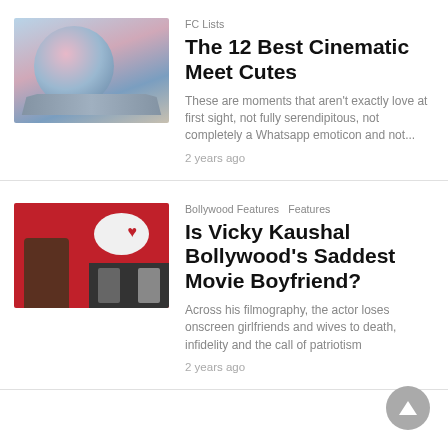[Figure (photo): Titanic movie poster style image with two people embracing inside a circular frame above a ship]
FC Lists
The 12 Best Cinematic Meet Cutes
These are moments that aren't exactly love at first sight, not fully serendipitous, not completely a Whatsapp emoticon and not...
2 years ago
[Figure (photo): Movie scene with a man in red background, thought bubble with a heart, and film strip images]
Bollywood Features   Features
Is Vicky Kaushal Bollywood's Saddest Movie Boyfriend?
Across his filmography, the actor loses onscreen girlfriends and wives to death, infidelity and the call of patriotism
2 years ago